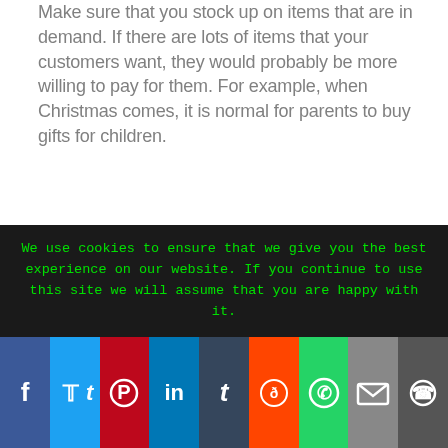Make sure that you stock up on items that are in demand. If there are lots of items that your customers want, they would probably be more willing to pay for them. For example, when Christmas comes, it is normal for parents to buy gifts for children.
However, during the school holiday season, there are usually a lot of items that are needed by students. Instead of putting all the gifts in the classroom, the teachers will stock up on them in order to be available whenever they are needed.
Create an environment where the public can come in and shop. Most stores employ the use of video
We use cookies to ensure that we give you the best experience on our website. If you continue to use this site we will assume that you are happy with it.